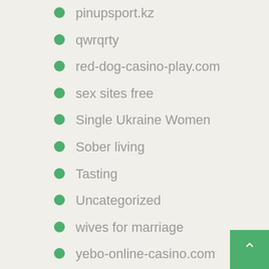pinupsport.kz
qwrqrty
red-dog-casino-play.com
sex sites free
Single Ukraine Women
Sober living
Tasting
Uncategorized
wives for marriage
yebo-online-casino.com
zaklady bukmacherskie ranking
Новости
Форекс Обучение